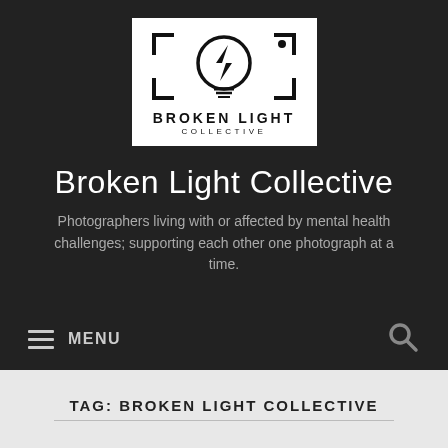[Figure (logo): Broken Light Collective logo: camera bracket frame with a lightning bolt inside a light bulb circle, text 'BROKEN LIGHT COLLECTIVE' below]
Broken Light Collective
Photographers living with or affected by mental health challenges; supporting each other one photograph at a time.
≡ MENU
TAG: BROKEN LIGHT COLLECTIVE